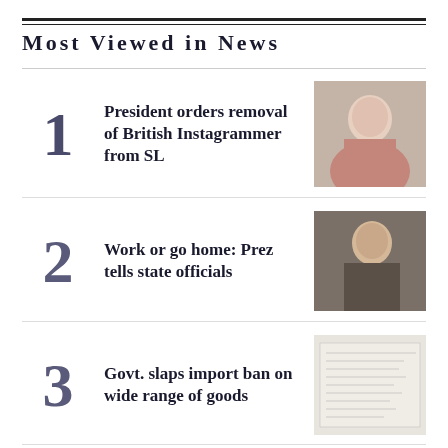Most Viewed in News
1 President orders removal of British Instagrammer from SL
2 Work or go home: Prez tells state officials
3 Govt. slaps import ban on wide range of goods
4 President contacts Gotabaya about his return